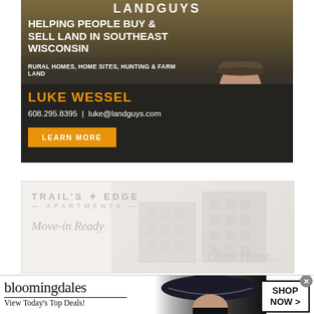[Figure (illustration): LandGuys advertisement banner: dark background with rural landscape, text 'HELPING PEOPLE BUY & SELL LAND IN SOUTHEAST WISCONSIN', 'RURAL HOMES, HOME SITES, HUNTING & FARM LAND', agent name LUKE WESSEL, phone 608.295.8395, email luke@landguys.com, orange LEARN MORE button, and photo of male agent wearing cap]
[Figure (illustration): Trail's Edge Apartments advertisement with light/faded background showing apartment building, text 'TRAIL'S EDGE APARTMENTS', 'Move-in Ready']
[Figure (illustration): Bloomingdales advertisement banner: logo 'bloomingdales', tagline 'View Today's Top Deals!', woman in large hat image, 'SHOP NOW >' button, close button X]